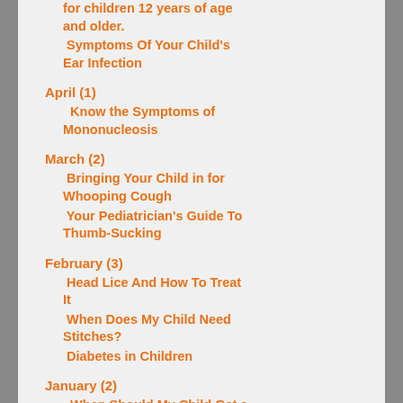for children 12 years of age and older.
Symptoms Of Your Child's Ear Infection
April (1)
Know the Symptoms of Mononucleosis
March (2)
Bringing Your Child in for Whooping Cough
Your Pediatrician's Guide To Thumb-Sucking
February (3)
Head Lice And How To Treat It
When Does My Child Need Stitches?
Diabetes in Children
January (2)
When Should My Child Get a